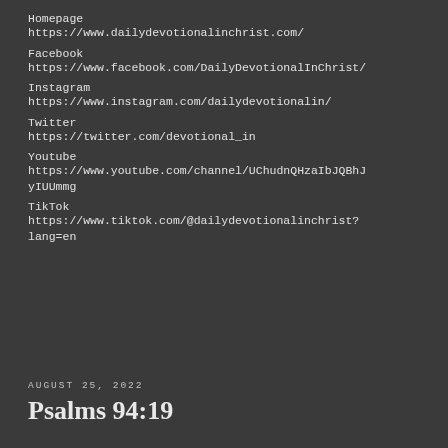Homepage
https://www.dailydevotionalinchrist.com/
Facebook
https://www.facebook.com/DailyDevotionalInChrist/
Instagram
https://www.instagram.com/dailydevotionalin/
Twitter
https://twitter.com/devotional_in
Youtube
https://www.youtube.com/channel/UChudnQHzaIbJQBhJyIUUmmg
TikTok
https://www.tiktok.com/@dailydevotionalinchrist?lang=en
AUGUST 25, 2022
Psalms 94:19